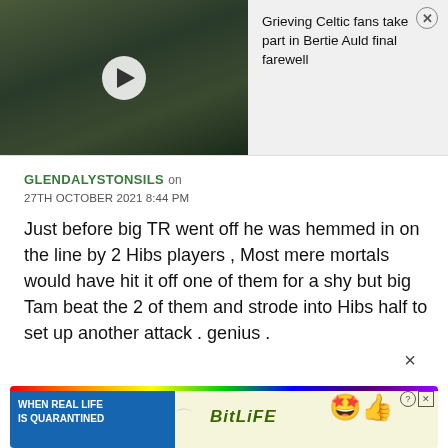[Figure (photo): Video thumbnail showing a crowd of people outdoors with a play button overlay. Dark green and grey tones.]
Grieving Celtic fans take part in Bertie Auld final farewell
GLENDALYSTONSILS on 27TH OCTOBER 2021 8:44 PM
Just before big TR went off he was hemmed in on the line by 2 Hibs players , Most mere mortals would have hit it off one of them for a shy but big Tam beat the 2 of them and strode into Hibs half to set up another attack . genius .
[Figure (screenshot): Advertisement banner for BitLife mobile game with rainbow stripe, text 'WHEN REAL LIFE IS QUARANTINED', BitLife logo, and emoji icons.]